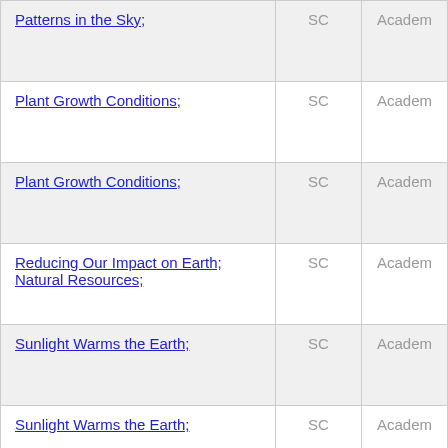|  | SC | Academ |
| --- | --- | --- |
| Patterns in the Sky; | SC | Academ |
| Plant Growth Conditions; | SC | Academ |
| Plant Growth Conditions; | SC | Academ |
| Reducing Our Impact on Earth; Natural Resources; | SC | Academ |
| Sunlight Warms the Earth; | SC | Academ |
| Sunlight Warms the Earth; | SC | Academ |